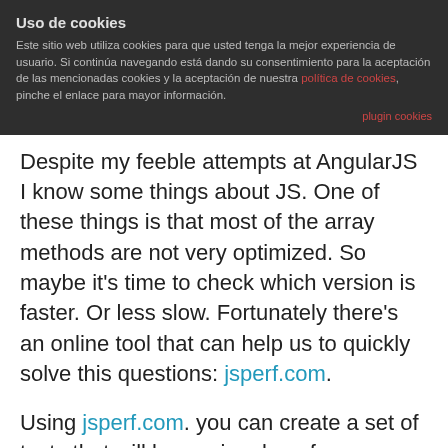Uso de cookies
Este sitio web utiliza cookies para que usted tenga la mejor experiencia de usuario. Si continúa navegando está dando su consentimiento para la aceptación de las mencionadas cookies y la aceptación de nuestra política de cookies, pinche el enlace para mayor información.
plugin cookies
Despite my feeble attempts at AngularJS I know some things about JS. One of these things is that most of the array methods are not very optimized. So maybe it's time to check which version is faster. Or less slow. Fortunately there's an online tool that can help us to quickly solve this questions: jsperf.com.
Using jsperf.com. you can create a set of tests that will be run in a loop for some time. The speed of the test will be determined by the number of loops